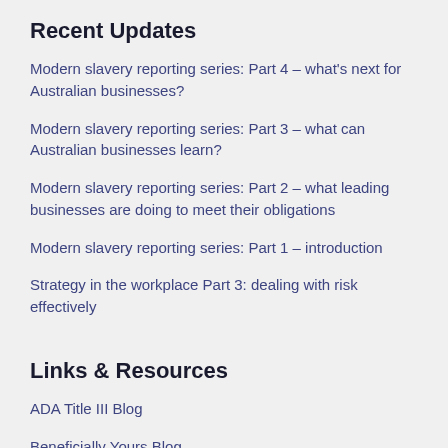Recent Updates
Modern slavery reporting series: Part 4 – what's next for Australian businesses?
Modern slavery reporting series: Part 3 – what can Australian businesses learn?
Modern slavery reporting series: Part 2 – what leading businesses are doing to meet their obligations
Modern slavery reporting series: Part 1 – introduction
Strategy in the workplace Part 3: dealing with risk effectively
Links & Resources
ADA Title III Blog
Beneficially Yours Blog